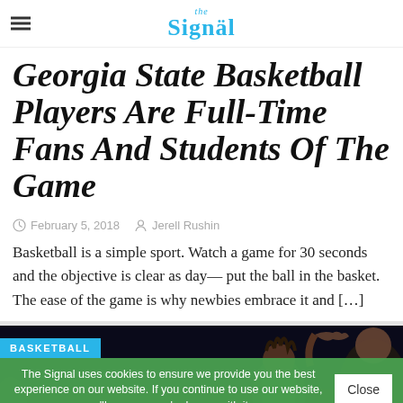the Signal
Georgia State Basketball Players Are Full-Time Fans And Students Of The Game
February 5, 2018   Jerell Rushin
Basketball is a simple sport. Watch a game for 30 seconds and the objective is clear as day— put the ball in the basket. The ease of the game is why newbies embrace it and […]
[Figure (photo): Basketball photo showing Georgia State basketball players on court, dark background]
BASKETBALL
The Signal uses cookies to ensure we provide you the best experience on our website. If you continue to use our website, we'll assume you're happy with it.